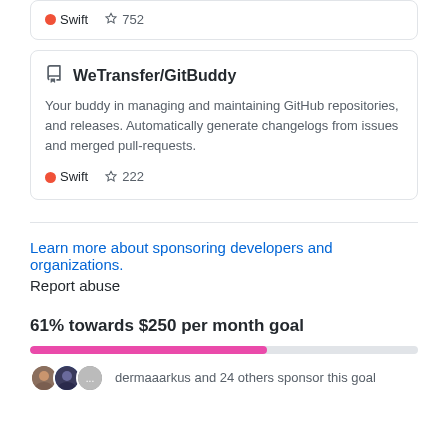Swift  752
[Figure (screenshot): GitHub repository card for WeTransfer/GitBuddy showing repo icon, title, description, Swift language tag, and 222 stars]
WeTransfer/GitBuddy
Your buddy in managing and maintaining GitHub repositories, and releases. Automatically generate changelogs from issues and merged pull-requests.
Swift  222
Learn more about sponsoring developers and organizations.
Report abuse
61% towards $250 per month goal
[Figure (infographic): Progress bar showing 61% filled in pink/magenta color]
dermaaarkus and 24 others sponsor this goal